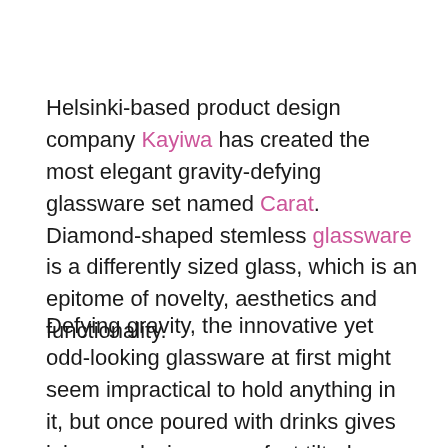Helsinki-based product design company Kayiwa has created the most elegant gravity-defying glassware set named Carat. Diamond-shaped stemless glassware is a differently sized glass, which is an epitome of novelty, aesthetics and functionality.
Defying gravity, the innovative yet odd-looking glassware at first might seem impractical to hold anything in it, but once poured with drinks gives juices and wines a perfect tilted design. Comfortable to hold, the glass offer user the best